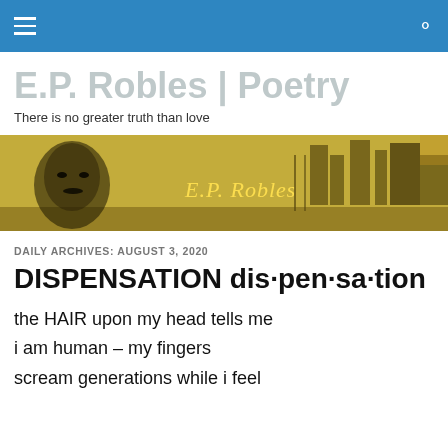Navigation bar with hamburger menu and search icon
E.P. Robles | Poetry
There is no greater truth than love
[Figure (photo): Sepia-toned banner image featuring a portrait of a man and the text 'E.P. Robles' overlaid on an urban cityscape background]
DAILY ARCHIVES: AUGUST 3, 2020
DISPENSATION dis·pen·sa·tion
the HAIR upon my head tells me
i am human – my fingers
scream generations while i feel